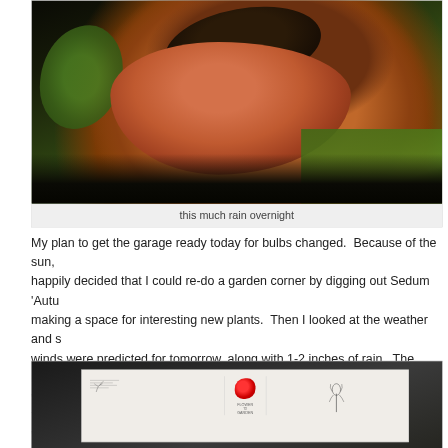[Figure (photo): Garden pot/bird bath filled with soil and plant debris, sitting on a metal stand, with green foliage visible in the background and grass below. Terracotta/clay colored dish.]
this much rain overnight
My plan to get the garage ready today for bulbs changed.  Because of the sun, I happily decided that I could re-do a garden corner by digging out Sedum 'Autu making a space for interesting new plants.  Then I looked at the weather and s winds were predicted for tomorrow, along with 1-2 inches of rain.  The most te when I looked at UPS tracking and saw my bulbs are now due to arrive on Thu Wednesday, affecting my work plans for later in the week.
[Figure (photo): Indoor photo of what appears to be a flower catalog or gardening pamphlet/magazine laid flat on a dark surface, with visible flower images including a red flower and line art of flowers.]